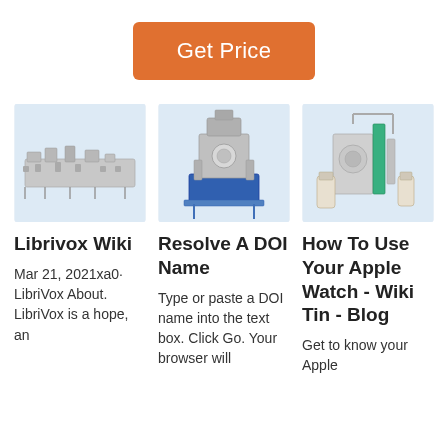Get Price
[Figure (photo): Industrial milling/processing machine equipment, long horizontal configuration, light blue background]
[Figure (photo): Industrial milling machine equipment, vertical configuration with blue base, light blue background]
[Figure (photo): Industrial grain milling machine with green accents and hanging bags, light blue background]
Librivox Wiki
Resolve A DOI Name
How To Use Your Apple Watch - Wiki Tin - Blog
Mar 21, 2021xa0· LibriVox About. LibriVox is a hope, an
Type or paste a DOI name into the text box. Click Go. Your browser will
Get to know your Apple